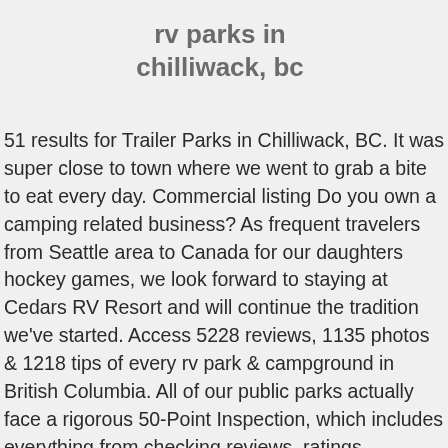rv parks in chilliwack, bc
51 results for Trailer Parks in Chilliwack, BC. It was super close to town where we went to grab a bite to eat every day. Commercial listing Do you own a camping related business? As frequent travelers from Seattle area to Canada for our daughters hockey games, we look forward to staying at Cedars RV Resort and will continue the tradition we've started. Access 5228 reviews, 1135 photos & 1218 tips of every rv park & campground in British Columbia. All of our public parks actually face a rigorous 50-Point Inspection, which includes everything from checking reviews, ratings, reputation, history, complaints, satisfaction, trust and cost to the general excellence.You deserve only the best! Royalwood RV Park Resort is located in the scenic Fraser Valley, in beautiful British Columbia, Canada. All rights reserved. 604-794-3001. Also rated are design, cleanliness, facilities, amenities, including nightly rates and the